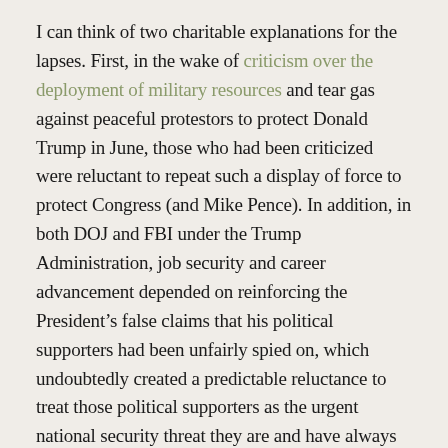I can think of two charitable explanations for the lapses. First, in the wake of criticism over the deployment of military resources and tear gas against peaceful protestors to protect Donald Trump in June, those who had been criticized were reluctant to repeat such a display of force to protect Congress (and Mike Pence). In addition, in both DOJ and FBI under the Trump Administration, job security and career advancement depended on reinforcing the President’s false claims that his political supporters had been unfairly spied on, which undoubtedly created a predictable reluctance to treat those political supporters as the urgent national security threat they are and have always been.